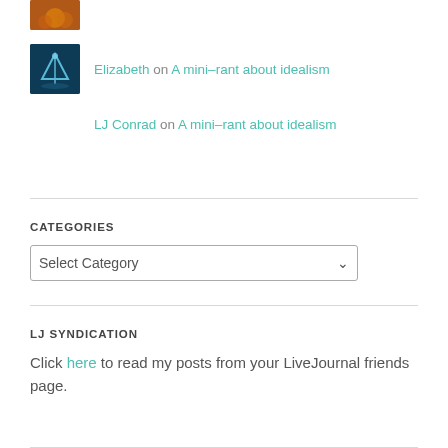[Figure (photo): Small avatar image - halloween theme, partially visible at top]
Elizabeth on A mini-rant about idealism
[Figure (photo): Small avatar image - blue underwater/fantasy theme]
LJ Conrad on A mini-rant about idealism
CATEGORIES
Select Category (dropdown)
LJ SYNDICATION
Click here to read my posts from your LiveJournal friends page.